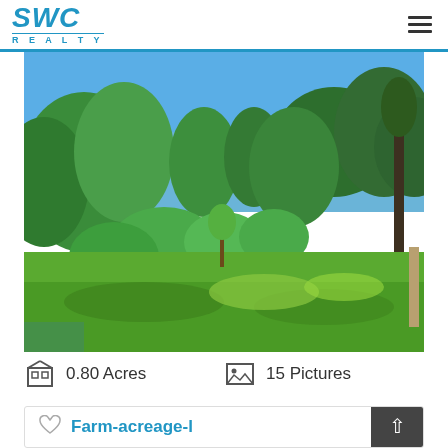SWC REALTY
[Figure (photo): Outdoor photo of a wooded lot with green trees and shrubs against a blue sky, with a grassy clearing in the foreground]
0.80 Acres
15 Pictures
Farm-acreage-l...